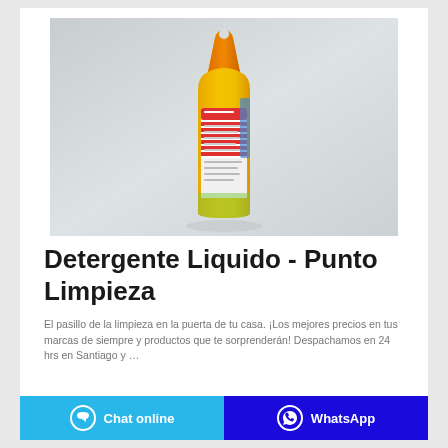[Figure (photo): Yellow liquid detergent package (Sanix or similar brand) standing upright against a light grey background. The bag is yellow/orange with a hang hole at top and red/white label panel on the front.]
Detergente Liquido - Punto Limpieza
El pasillo de la limpieza en la puerta de tu casa. ¡Los mejores precios en tus marcas de siempre y productos que te sorprenderán! Despachamos en 24 hrs en Santiago y …
Chat online   WhatsApp